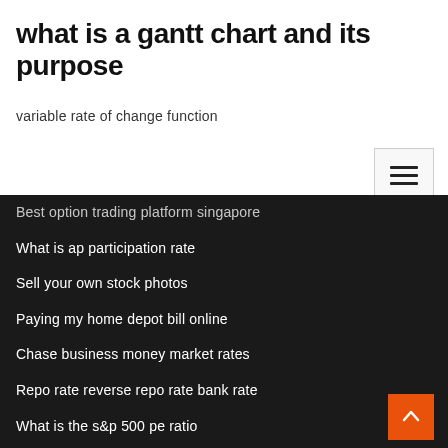what is a gantt chart and its purpose
variable rate of change function
Best option trading platform singapore
What is ap participation rate
Sell your own stock photos
Paying my home depot bill online
Chase business money market rates
Repo rate reverse repo rate bank rate
What is the s&p 500 pe ratio
Sgd to myr history 2007
Future income tax calculation template canada